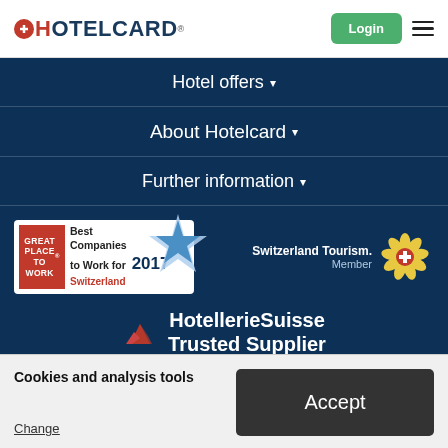HOTELCARD
Hotel offers ▾
About Hotelcard ▾
Further information ▾
[Figure (logo): Great Place To Work – Best Companies to Work for 2017 Switzerland badge]
[Figure (logo): Switzerland Tourism Member badge with edelweiss flower logo]
[Figure (logo): HotellerieSuisse Trusted Supplier logo with mountain icon]
HotellerieSuisse
Trusted Supplier
Cookies and analysis tools
Change
Accept